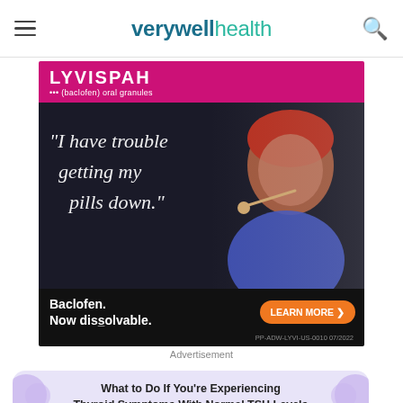verywellhealth (navigation header with hamburger menu and search icon)
[Figure (advertisement): LYVISPAH (baclofen) oral granules advertisement. Pink top bar with brand name. Dark background image showing a woman with red hair taking medication with text: 'I have trouble getting my pills down'. Bottom bar with text 'Baclofen. Now dissolvable.' and orange 'LEARN MORE' button. Reference number: PP-ADW-LYVI-US-0010 07/2022]
Advertisement
What to Do If You're Experiencing Thyroid Symptoms With Normal TSH Levels